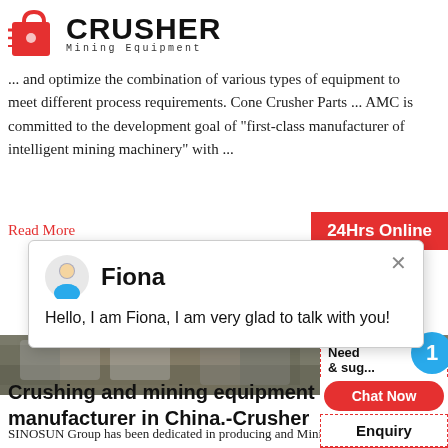[Figure (logo): Crusher Mining Equipment logo with red shopping bag icon and bold CRUSHER text]
... and optimize the combination of various types of equipment to meet different process requirements. Cone Crusher Parts ... AMC is committed to the development goal of "first-class manufacturer of intelligent mining machinery" with ...
Read More
[Figure (screenshot): 24Hrs Online badge in red]
[Figure (screenshot): Chat popup with avatar of Fiona, message: Hello, I am Fiona, I am very glad to talk with you!]
[Figure (photo): Crushing equipment machinery photo]
Crushing and mining equipment manufacturer in China.-Crusher
SINOSUN Group has been dedicated in producing and Mining Equipment for years. SIONSUN Group engineered in processing different mining materials comprehensive group, our scope covers : mineral analysis,
[Figure (screenshot): Right sidebar with Need & suggestions, blue circle with 1, Chat Now button, Enquiry section, limingjlmofen@sina.com email]